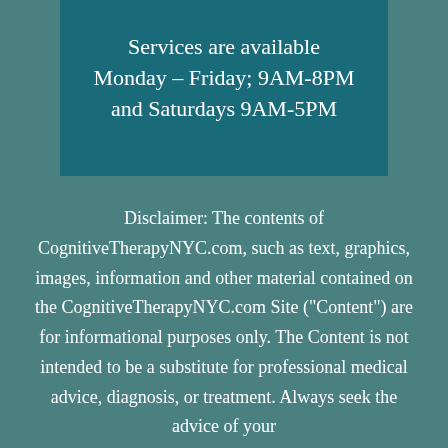Services are available Monday – Friday; 9AM-8PM and Saturdays 9AM-5PM
Disclaimer: The contents of CognitiveTherapyNYC.com, such as text, graphics, images, information and other material contained on the CognitiveTherapyNYC.com Site ("Content") are for informational purposes only. The Content is not intended to be a substitute for professional medical advice, diagnosis, or treatment. Always seek the advice of your